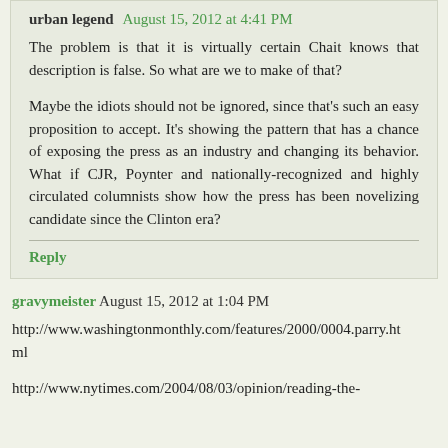urban legend  August 15, 2012 at 4:41 PM
The problem is that it is virtually certain Chait knows that description is false. So what are we to make of that?
Maybe the idiots should not be ignored, since that's such an easy proposition to accept. It's showing the pattern that has a chance of exposing the press as an industry and changing its behavior. What if CJR, Poynter and nationally-recognized and highly circulated columnists show how the press has been novelizing candidate since the Clinton era?
Reply
gravymeister  August 15, 2012 at 1:04 PM
http://www.washingtonmonthly.com/features/2000/0004.parry.html
http://www.nytimes.com/2004/08/03/opinion/reading-the-